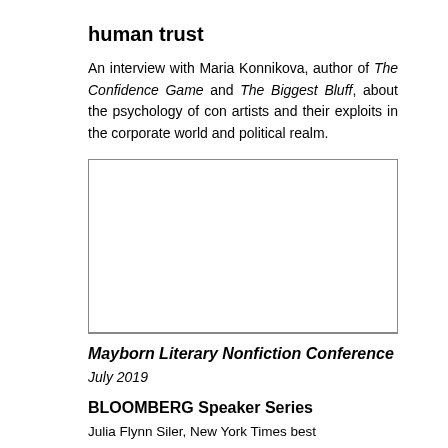human trust
An interview with Maria Konnikova, author of The Confidence Game and The Biggest Bluff, about the psychology of con artists and their exploits in the corporate world and political realm.
[Figure (photo): Empty white image box with border]
Mayborn Literary Nonfiction Conference
July 2019
BLOOMBERG Speaker Series
Julia Flynn Siler, New York Times best